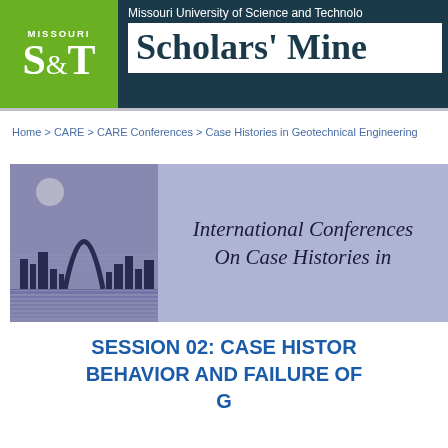[Figure (logo): Missouri S&T logo with green background and white text]
Missouri University of Science and Technology — Scholars' Mine
Home > CARE > CARE Conferences > Case Histories in Geotechnical Engineering
[Figure (illustration): International Conferences On Case Histories in Geotechnical Engineering banner with St. Louis arch cityscape]
SESSION 02: CASE HISTORIES — BEHAVIOR AND FAILURE OF ...